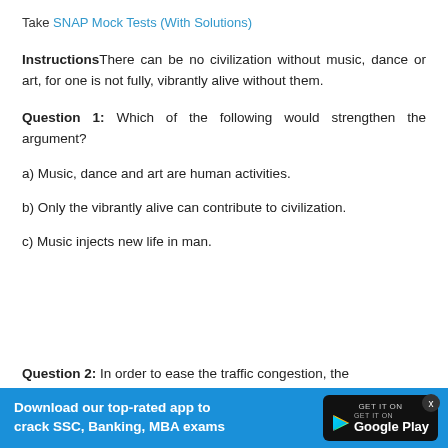Take SNAP Mock Tests (With Solutions)
InstructionsThere can be no civilization without music, dance or art, for one is not fully, vibrantly alive without them.
Question 1: Which of the following would strengthen the argument?
a) Music, dance and art are human activities.
b) Only the vibrantly alive can contribute to civilization.
c) Music injects new life in man.
[Figure (infographic): Blue banner advertisement for downloading app to crack SSC, Banking, MBA exams with Google Play badge]
Question 2: In order to ease the traffic congestion, the